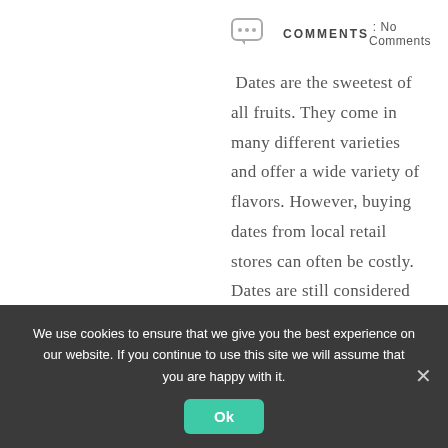COMMENTS : No Comments
Dates are the sweetest of all fruits. They come in many different varieties and offer a wide variety of flavors. However, buying dates from local retail stores can often be costly. Dates are still considered one of the most popular fruits in the United States, although consumption has declined over
We use cookies to ensure that we give you the best experience on our website. If you continue to use this site we will assume that you are happy with it.